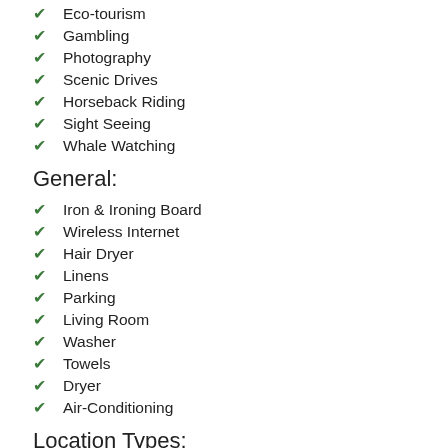Eco-tourism
Gambling
Photography
Scenic Drives
Horseback Riding
Sight Seeing
Whale Watching
General:
Iron & Ironing Board
Wireless Internet
Hair Dryer
Linens
Parking
Living Room
Washer
Towels
Dryer
Air-Conditioning
Location Types:
Resort